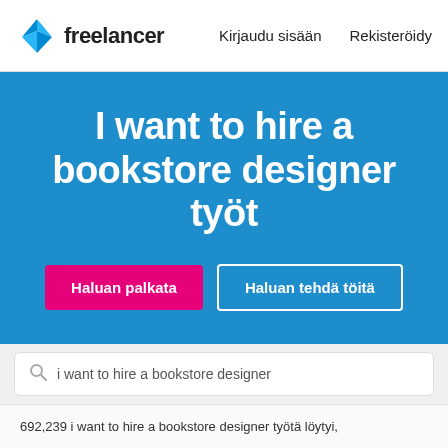[Figure (logo): Freelancer logo with blue origami bird icon and 'freelancer' wordmark]
Kirjaudu sisään   Rekisteröidy
I want to hire a bookstore designer työt
Haluan palkata
Haluan tehdä töitä
i want to hire a bookstore designer
692,239 i want to hire a bookstore designer työtä löytyi,